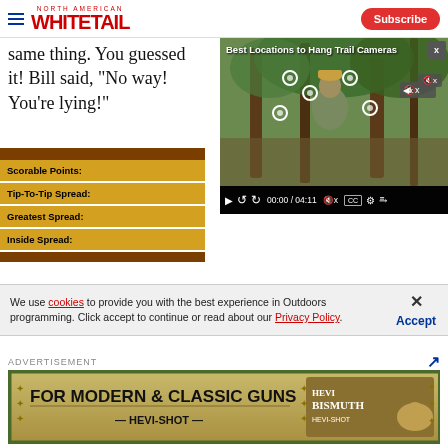North American Whitetail | Subscribe
same thing. You guessed it! Bill said, "No way! You're lying!"
[Figure (screenshot): Video player showing 'Best Locations to Hang Trail Cameras' with a man in camouflage kneeling in a wooded area. Controls show 00:00 / 04:11.]
|  |  |
| --- | --- |
| Scorable Points: |  |
| Tip-To-Tip Spread: |  |
| Greatest Spread: |  |
| Inside Spread: |  |
We use cookies to provide you with the best experience in Outdoors programming. Click accept to continue or read about our Privacy Policy.
Advertisement
[Figure (illustration): Advertisement banner for Hevi-Shot: 'FOR MODERN & CLASSIC GUNS HEVI-SHOT HEVI BISMUTH']